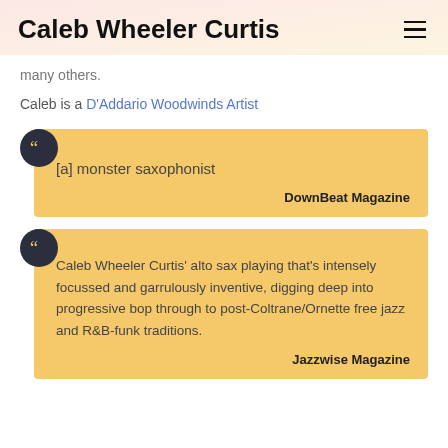Caleb Wheeler Curtis
many others.
Caleb is a D’Addario Woodwinds Artist
[a] monster saxophonist

DownBeat Magazine
Caleb Wheeler Curtis’ alto sax playing that’s intensely focussed and garrulously inventive, digging deep into progressive bop through to post-Coltrane/Ornette free jazz and R&B-funk traditions.

Jazzwise Magazine